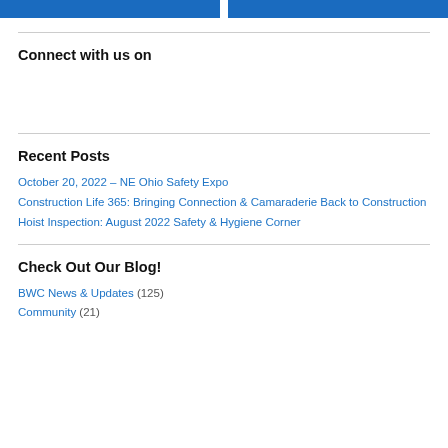[Figure (other): Two blue horizontal banner bars at the top of the page]
Connect with us on
Recent Posts
October 20, 2022 – NE Ohio Safety Expo
Construction Life 365: Bringing Connection & Camaraderie Back to Construction
Hoist Inspection: August 2022 Safety & Hygiene Corner
Check Out Our Blog!
BWC News & Updates (125)
Community (21)